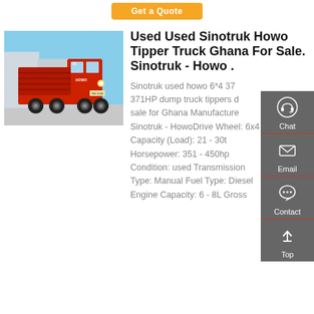[Figure (other): Orange 'Get a Quote' button at the top of the page]
[Figure (photo): Red Sinotruk Howo tipper dump truck parked outdoors on a clear day, front-left view]
Used Used Sinotruk Howo Tipper Truck Ghana For Sale. Sinotruk - Howo .
Sinotruk used howo 6*4 371HP dump truck tippers dump sale for Ghana Manufacturer Sinotruk - HowoDrive Wheel: 6x4 Capacity (Load): 21 - 30t Horsepower: 351 - 450hp Condition: used Transmission Type: Manual Fuel Type: Diesel Engine Capacity: 6 - 8L Gross
[Figure (infographic): Side panel with four items: Chat (headset icon), Email (envelope icon), Contact (speech bubble icon), Top (up arrow icon), on a grey background with red dividers]